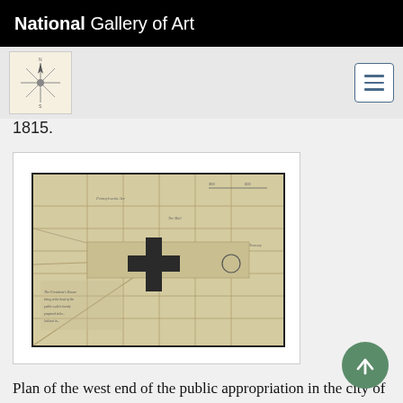National Gallery of Art
1815.
[Figure (map): Historical map showing the plan of the west end of the public appropriation in the city of Washington, called the Mall, with streets, paths, and a cross-shaped structure at center.]
Plan of the west end of the public appropriation in the city of Washington, called the Mall; as proposed to be